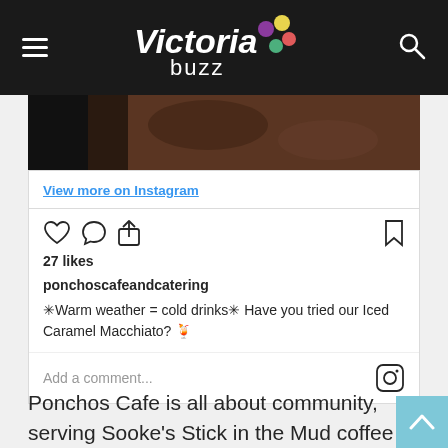Victoria Buzz
[Figure (photo): Partial photo strip showing a dark coffee shop interior]
View more on Instagram
[Figure (screenshot): Instagram embed card showing 27 likes, username ponchoscafeandcatering, and caption about Iced Caramel Macchiato]
27 likes
ponchoscafeandcatering
✳Warm weather = cold drinks✳ Have you tried our Iced Caramel Macchiato? 🍹
Add a comment...
Ponchos Cafe is all about community, serving Sooke's Stick in the Mud coffee from their warm and cozy cafe.